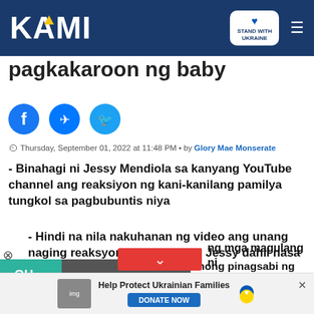KAMI — Stand with Ukraine
pagkakaroon ng baby
[Figure (other): Social sharing icons: Facebook, Messenger, Twitter]
Thursday, September 01, 2022 at 11:48 PM • by Glory Mae Monserate
- Binahagi ni Jessy Mendiola sa kanyang YouTube channel ang reaksiyon ng kani-kanilang pamilya tungkol sa pagbubuntis niya
- Hindi na nila nakuhanan ng video ang unang naging reaksyon ng pamilya ni Jessy dahil nasa ibang bansa
[Figure (other): Video thumbnail overlay showing OH MY GOD! text and person's face with play button]
anong pinagsabi ng kanyang obrang tuwa nito
ng mga magulang ni
[Figure (other): Bottom advertisement: Help Protect Ukrainian Families — DONATE NOW with Ukraine heart flag badge]